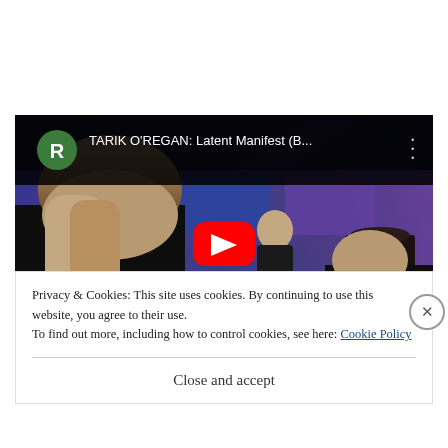[Figure (screenshot): YouTube video embed showing orchestra musicians playing violins on a stage with blue/purple lighting. Video title reads 'TARIK O'REGAN: Latent Manifest (B...' with a red play button in the center and a green avatar with letter R in the top left.]
Privacy & Cookies: This site uses cookies. By continuing to use this website, you agree to their use.
To find out more, including how to control cookies, see here: Cookie Policy
Close and accept